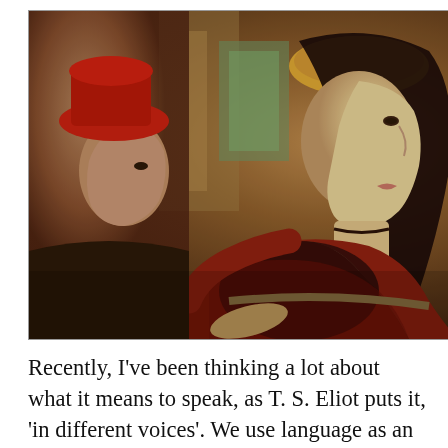[Figure (photo): A Renaissance-style painting showing a woman in profile view wearing a dark headdress and dark red/maroon dress with decorative trim. A male figure wearing a red hat is partially visible behind her to the left. The background shows architectural elements and drapery.]
Recently, I've been thinking a lot about what it means to speak, as T. S. Eliot puts it, 'in different voices'. We use language as an index of belonging. At the moment, there's an idiolect which I'd like to